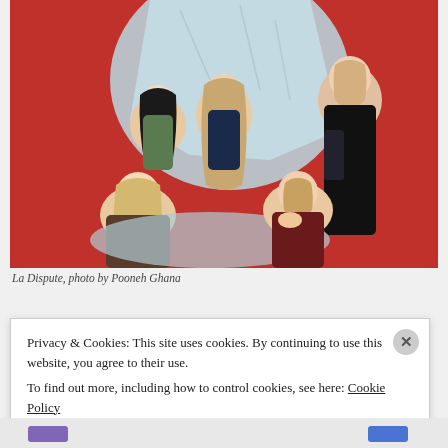[Figure (photo): Group photo of five people (La Dispute band members) posed against a red and light blue crumpled paper backdrop. Two people sit in the front, three stand behind. Right person is tall with tattoos and black t-shirt.]
La Dispute, photo by Pooneh Ghana
Privacy & Cookies: This site uses cookies. By continuing to use this website, you agree to their use.
To find out more, including how to control cookies, see here: Cookie Policy
Close and accept